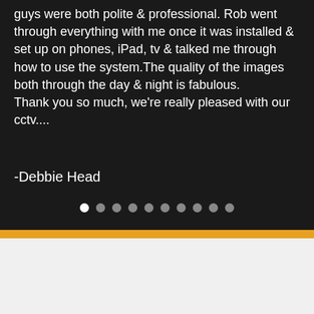guys were both polite & professional. Rob went through everything with me once it was installed & set up on phones, iPad, tv & talked me through how to use the system.The quality of the images both through the day & night is fabulous.
Thank you so much, we're really pleased with our cctv....
-Debbie Head
[Figure (other): Carousel navigation dots — 10 dots, first one white (active), rest grey]
GET A QUOTE
Home CCTV survey
[Figure (other): reCAPTCHA widget showing the reCAPTCHA logo and Privacy - Terms text]